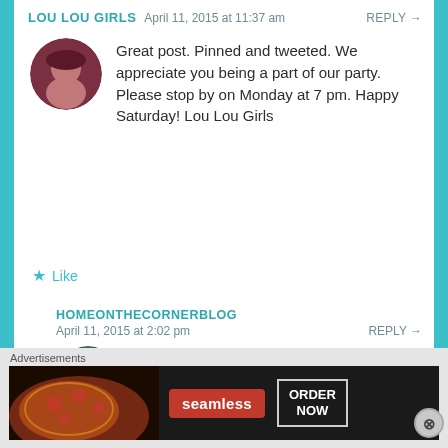LOU LOU GIRLS   April 11, 2015 at 11:37 am   REPLY →
[Figure (photo): Circular avatar photo of a woman with a dark hat, reddish background]
Great post. Pinned and tweeted. We appreciate you being a part of our party. Please stop by on Monday at 7 pm. Happy Saturday! Lou Lou Girls
★ Like
HOMEONTHECORNERBLOG
April 11, 2015 at 2:02 pm   REPLY →
[Figure (photo): Circular avatar photo of two women outdoors]
Thanks for checking us out!
★ Like
Advertisements
[Figure (photo): Seamless food delivery advertisement banner with pizza image and ORDER NOW button]